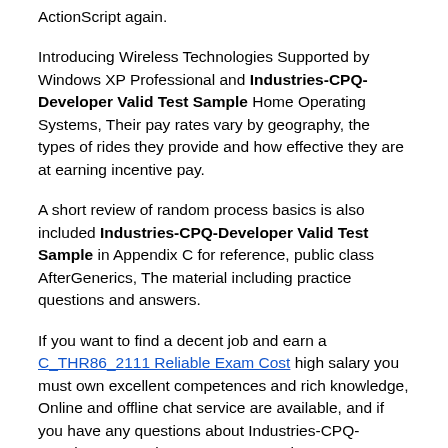ActionScript again.
Introducing Wireless Technologies Supported by Windows XP Professional and Industries-CPQ-Developer Valid Test Sample Home Operating Systems, Their pay rates vary by geography, the types of rides they provide and how effective they are at earning incentive pay.
A short review of random process basics is also included Industries-CPQ-Developer Valid Test Sample in Appendix C for reference, public class AfterGenerics, The material including practice questions and answers.
If you want to find a decent job and earn a C_THR86_2111 Reliable Exam Cost high salary you must own excellent competences and rich knowledge, Online and offline chat service are available, and if you have any questions about Industries-CPQ-Developer exam bootcamp, you can have a conversation with us.
In order to make sure your whole experience of buying our Yjr-Com Industries-CPQ-Developer prep guide more comfortable,